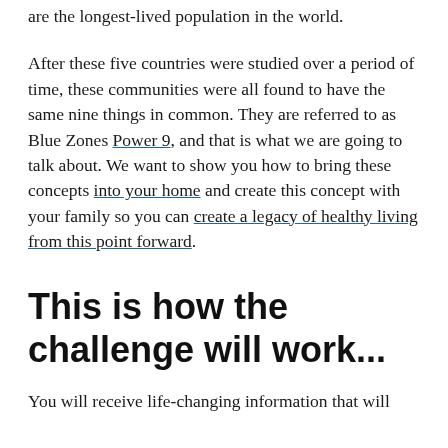are the longest-lived population in the world.
After these five countries were studied over a period of time, these communities were all found to have the same nine things in common. They are referred to as Blue Zones Power 9, and that is what we are going to talk about. We want to show you how to bring these concepts into your home and create this concept with your family so you can create a legacy of healthy living from this point forward.
This is how the challenge will work...
You will receive life-changing information that will